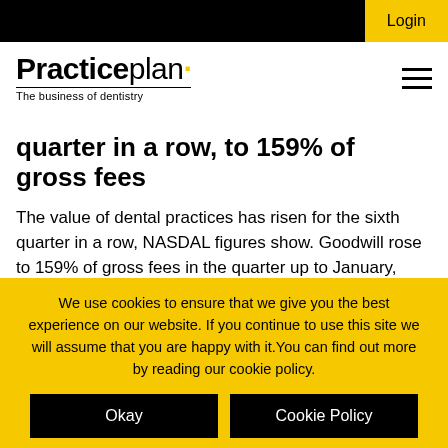Login
[Figure (logo): Practiceplan logo with tagline 'The business of dentistry']
quarter in a row, to 159% of gross fees
The value of dental practices has risen for the sixth quarter in a row, NASDAL figures show. Goodwill rose to 159% of gross fees in the quarter up to January, compared to 157% in the previous quarter. The rise
We use cookies to ensure that we give you the best experience on our website. If you continue to use this site we will assume that you are happy with it. You can find out more by reading our cookie policy.
Okay
Cookie Policy